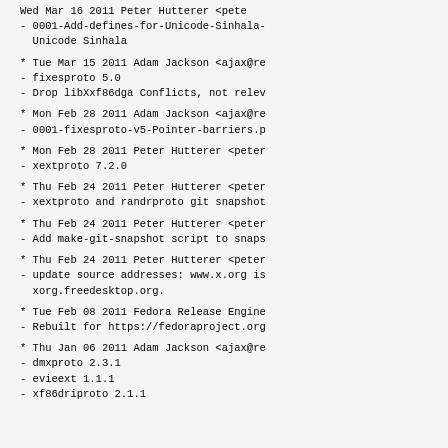Wed Mar 16 2011 Peter Hutterer <pete...
  - 0001-Add-defines-for-Unicode-Sinhala-...
    Unicode Sinhala
* Tue Mar 15 2011 Adam Jackson <ajax@re...
  - fixesproto 5.0
  - Drop libXxf86dga Conflicts, not relev...
* Mon Feb 28 2011 Adam Jackson <ajax@re...
  - 0001-fixesproto-v5-Pointer-barriers.p...
* Mon Feb 28 2011 Peter Hutterer <peter...
  - xextproto 7.2.0
* Thu Feb 24 2011 Peter Hutterer <peter...
  - xextproto and randrproto git snapshot...
* Thu Feb 24 2011 Peter Hutterer <peter...
  - Add make-git-snapshot script to snaps...
* Thu Feb 24 2011 Peter Hutterer <peter...
  - update source addresses: www.x.org is...
    xorg.freedesktop.org.
* Tue Feb 08 2011 Fedora Release Engine...
  - Rebuilt for https://fedoraproject.org...
* Thu Jan 06 2011 Adam Jackson <ajax@re...
  - dmxproto 2.3.1
  - evieext 1.1.1
  - xf86driproto 2.1.1